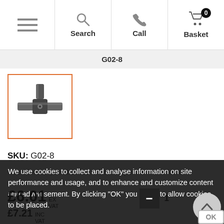Search | Call | Basket
G02-8
[Figure (photo): T-joint pipe connector fitting, metal, black and silver, shown in thumbnail with orange border]
SKU: G02-8
Used for the joint between the end post and the lower
We use cookies to collect and analyse information on site performance and usage, and to enhance and customize content and advertisement. By clicking "OK" you agree to allow cookies to be placed.
£6.01 EX VAT
£7.21 INC VAT